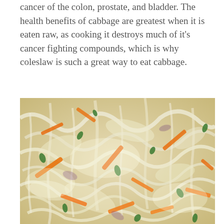cancer of the colon, prostate, and bladder. The health benefits of cabbage are greatest when it is eaten raw, as cooking it destroys much of it's cancer fighting compounds, which is why coleslaw is such a great way to eat cabbage.
[Figure (photo): Close-up photo of coleslaw showing shredded cabbage, orange carrot strips, and green herbs mixed together.]